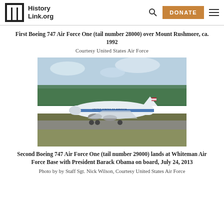HistoryLink.org — DONATE
First Boeing 747 Air Force One (tail number 28000) over Mount Rushmore, ca. 1992
Courtesy United States Air Force
[Figure (photo): Air Force One Boeing 747 (tail number 29000) on runway at Whiteman Air Force Base, low angle side view showing the aircraft's blue and white livery with 'United States of America' written on the fuselage, green tree line in background, blue sky with clouds]
Second Boeing 747 Air Force One (tail number 29000) lands at Whiteman Air Force Base with President Barack Obama on board, July 24, 2013
Photo by by Staff Sgt. Nick Wilson, Courtesy United States Air Force